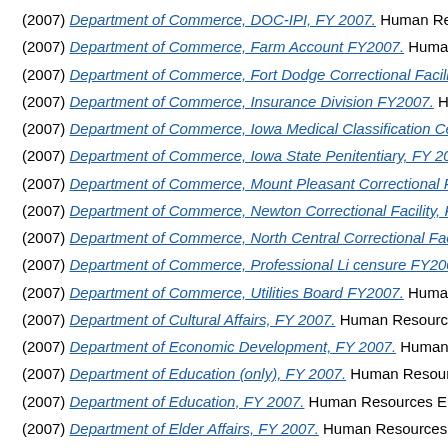(2007) Department of Commerce, DOC-IPI, FY 2007. Human Resources En…
(2007) Department of Commerce, Farm Account FY2007. Human Resources…
(2007) Department of Commerce, Fort Dodge Correctional Facility FY2007. H…
(2007) Department of Commerce, Insurance Division FY2007. Human Resou…
(2007) Department of Commerce, Iowa Medical Classification Center FY200…
(2007) Department of Commerce, Iowa State Penitentiary, FY 2007. Human…
(2007) Department of Commerce, Mount Pleasant Correctional Facility, FY 2…
(2007) Department of Commerce, Newton Correctional Facility, FY 2007. Hu…
(2007) Department of Commerce, North Central Correctional Facility, FY 200…
(2007) Department of Commerce, Professional Licensure FY2007. Human R…
(2007) Department of Commerce, Utilities Board FY2007. Human Resources…
(2007) Department of Cultural Affairs, FY 2007. Human Resources Enterpris…
(2007) Department of Economic Development, FY 2007. Human Resources…
(2007) Department of Education (only), FY 2007. Human Resources Enterpr…
(2007) Department of Education, FY 2007. Human Resources Enterprise
(2007) Department of Elder Affairs, FY 2007. Human Resources Enterprise